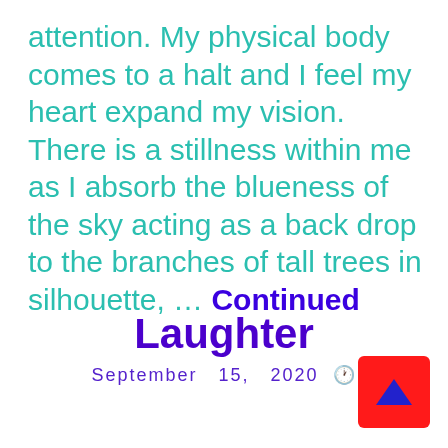attention. My physical body comes to a halt and I feel my heart expand my vision. There is a stillness within me as I absorb the blueness of the sky acting as a back drop to the branches of tall trees in silhouette, … Continued
Laughter
September  15,  2020